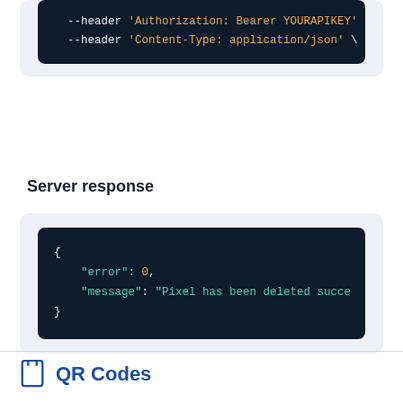[Figure (screenshot): Dark code block showing curl command headers: --header 'Authorization: Bearer YOURAPIKEY' and --header 'Content-Type: application/json' \]
Server response
[Figure (screenshot): Dark code block showing JSON server response: { "error": 0, "message": "Pixel has been deleted succe... }]
QR Codes